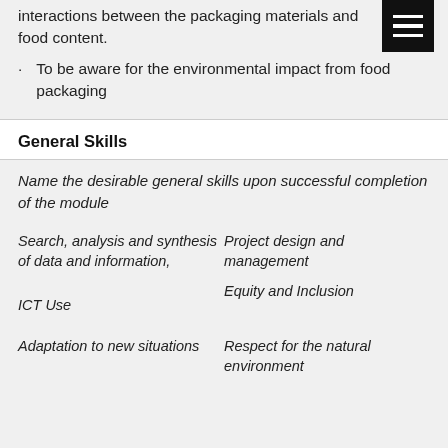interactions between the packaging materials and food content.
To be aware for the environmental impact from food packaging
General Skills
Name the desirable general skills upon successful completion of the module
Search, analysis and synthesis of data and information,
Project design and management
Equity and Inclusion
ICT Use
Respect for the natural environment
Adaptation to new situations